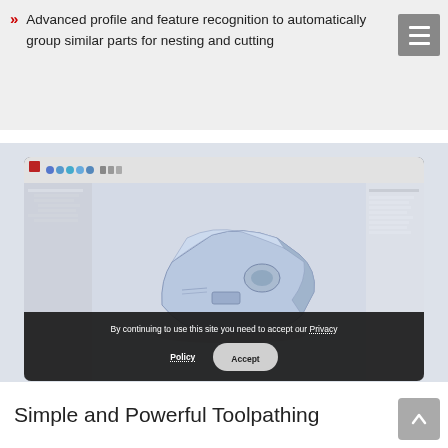Advanced profile and feature recognition to automatically group similar parts for nesting and cutting
[Figure (screenshot): CAD/CAM software screenshot showing a 3D model of a rounded rectangular part with features, displayed in a software interface with toolbars, left panel tree, and right properties panel. A cookie consent banner overlays the bottom of the screenshot with text 'By continuing to use this site you need to accept our Privacy Policy' and an Accept button.]
Simple and Powerful Toolpathing